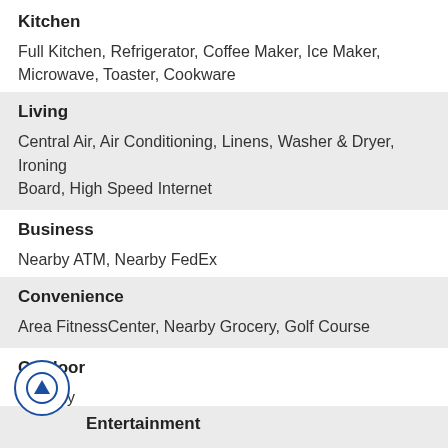Kitchen
Full Kitchen, Refrigerator, Coffee Maker, Ice Maker, Microwave, Toaster, Cookware
Living
Central Air, Air Conditioning, Linens, Washer & Dryer, Ironing Board, High Speed Internet
Business
Nearby ATM, Nearby FedEx
Convenience
Area FitnessCenter, Nearby Grocery, Golf Course
Outdoor
Balcony
Entertainment